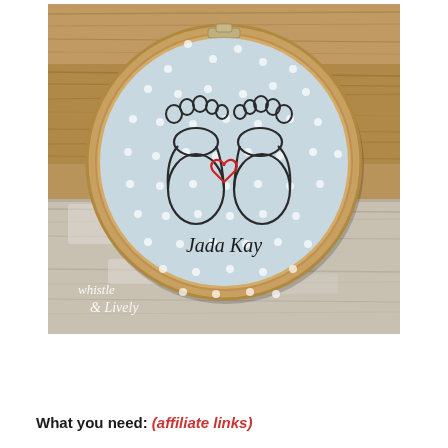[Figure (photo): A photograph of an embroidery hoop on a rustic wooden background. Inside the hoop is light blue polka-dot fabric with two baby footprints embroidered in dark thread, a small red embroidered heart between them, and the name 'Jada Kay' written in cursive below. A white script watermark reads 'whistle & Lively' in the lower left corner.]
What you need: (affiliate links)